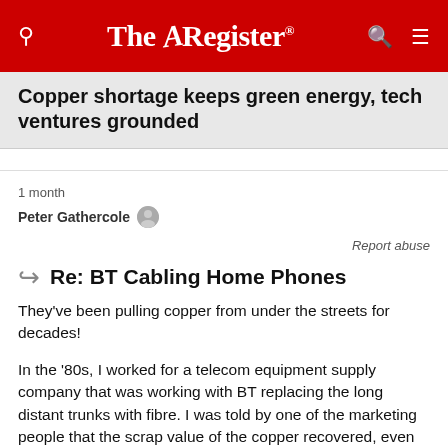The Register
Copper shortage keeps green energy, tech ventures grounded
1 month
Peter Gathercole
Report abuse
Re: BT Cabling Home Phones
They've been pulling copper from under the streets for decades!
In the '80s, I worked for a telecom equipment supply company that was working with BT replacing the long distant trunks with fibre. I was told by one of the marketing people that the scrap value of the copper recovered, even then, was enough to buy the fibre, the equipment to add to the exchanges, and the cost of laying the fibre and recovering the copper, and still turn a profit.